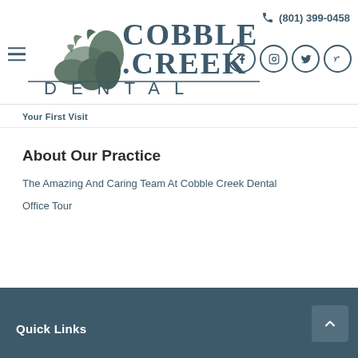[Figure (logo): Cobble Creek Dental logo with stylized rocks/stones illustration and text 'COBBLE CREEK DENTAL']
(801) 399-0458
[Figure (infographic): Social media icons: Facebook, Instagram, Twitter, Yelp — each in a circle]
Your First Visit
About Our Practice
The Amazing And Caring Team At Cobble Creek Dental
Office Tour
Quick Links